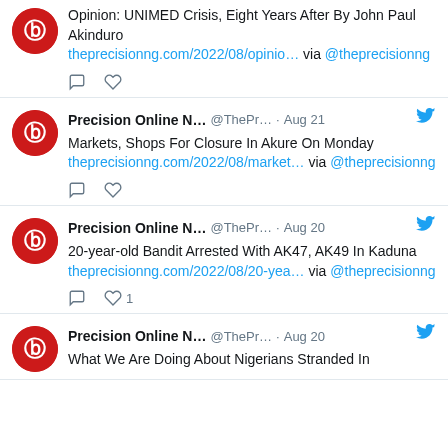Opinion: UNIMED Crisis, Eight Years After By John Paul Akinduro theprecisionng.com/2022/08/opinio... via @theprecisionng
Precision Online N... @ThePr... · Aug 21 — Markets, Shops For Closure In Akure On Monday theprecisionng.com/2022/08/market... via @theprecisionng
Precision Online N... @ThePr... · Aug 20 — 20-year-old Bandit Arrested With AK47, AK49 In Kaduna theprecisionng.com/2022/08/20-yea... via @theprecisionng — 1 like
Precision Online N... @ThePr... · Aug 20 — What We Are Doing About Nigerians Stranded In